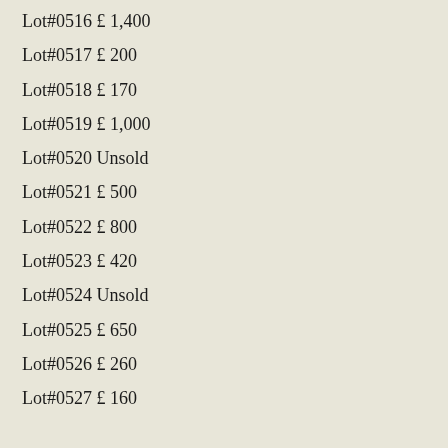Lot#0516 £ 1,400
Lot#0517 £ 200
Lot#0518 £ 170
Lot#0519 £ 1,000
Lot#0520 Unsold
Lot#0521 £ 500
Lot#0522 £ 800
Lot#0523 £ 420
Lot#0524 Unsold
Lot#0525 £ 650
Lot#0526 £ 260
Lot#0527 £ 160